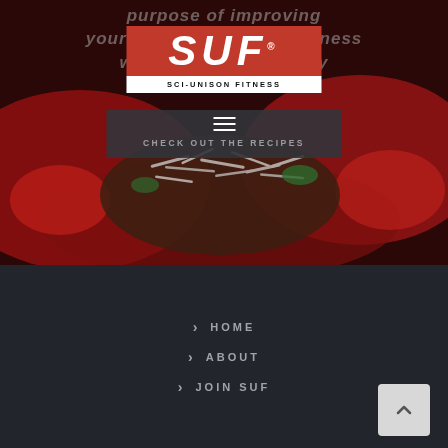[Figure (screenshot): Screenshot of Sci-Unison Fitness website showing the SUF logo with red background and white text, navigation bar with hamburger menu, 'CHECK OUT THE RECIPES' link, and a food photo of a dish with shredded cheese/coconut on a dark red plate.]
SUF® SCI-UNISON FITNESS
purpose of improving your overall health and fitness without wasting money
CHECK OUT THE RECIPES
> HOME
> ABOUT
> JOIN SUF